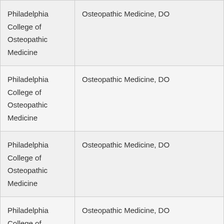| Philadelphia College of Osteopathic Medicine | Osteopathic Medicine, DO |
| Philadelphia College of Osteopathic Medicine | Osteopathic Medicine, DO |
| Philadelphia College of Osteopathic Medicine | Osteopathic Medicine, DO |
| Philadelphia College of Osteopathic Medicine | Osteopathic Medicine, DO |